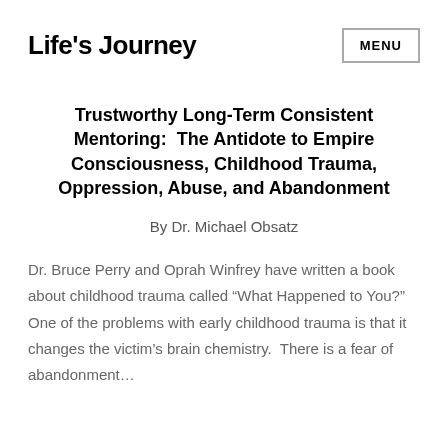Life's Journey
Trustworthy Long-Term Consistent Mentoring:  The Antidote to Empire Consciousness, Childhood Trauma, Oppression, Abuse, and Abandonment
By Dr. Michael Obsatz
Dr. Bruce Perry and Oprah Winfrey have written a book about childhood trauma called “What Happened to You?”  One of the problems with early childhood trauma is that it changes the victim’s brain chemistry.  There is a fear of abandonment…